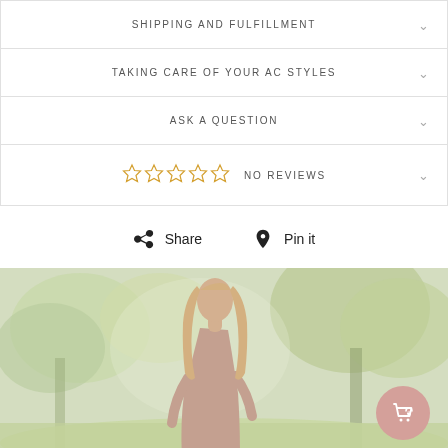SHIPPING AND FULFILLMENT
TAKING CARE OF YOUR AC STYLES
ASK A QUESTION
☆☆☆☆☆ NO REVIEWS
Share   Pin it
[Figure (photo): Woman with long blonde hair smiling, wearing a sleeveless mauve dress, standing outdoors in a park with trees and green grass in the background. A pink circular shopping bag icon appears in the lower right corner.]